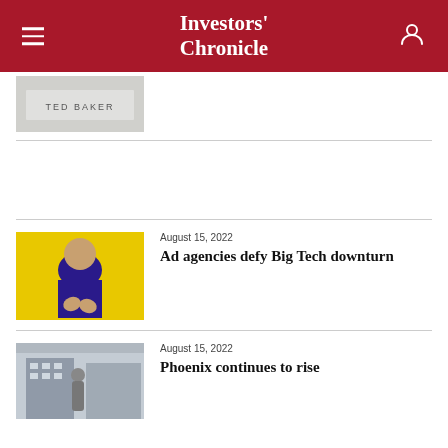Investors' Chronicle
[Figure (photo): Partial view of Ted Baker store sign]
[Figure (photo): Man in blue sweater against yellow background, hands clasped]
August 15, 2022
Ad agencies defy Big Tech downturn
[Figure (photo): Person walking past office building, partially visible]
August 15, 2022
Phoenix continues to rise